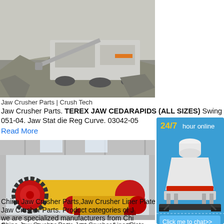[Figure (photo): Outdoor jaw crusher machine processing rocks at a quarry site, grey/white dusty environment]
Jaw Crusher Parts | Crush Tech
Jaw Crusher Parts. TEREX JAW CEDARAPIDS (ALL SIZES) Swing Jaw Die FA Bellied. 03042-051-03. Jaw Stat die. 03042-051-04. Jaw Stat die Reg Curve. 03042-05
Read More
[Figure (photo): Large yellow industrial ball mill cylinders in a factory warehouse setting]
[Figure (photo): Right side advertisement panel: 24/7 hour online, cone crusher machine illustration, Click me to chat>>, Enquiry, limingjlmofen]
China Jaw Crusher Parts,Jaw Crusher Liner Plate
Jaw Crusher Parts. Product categories of J we are specialized manufacturers from Chi Parts. Jaw Crusher Liner Plate suppliers/fa